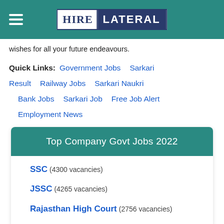HIRE LATERAL
wishes for all your future endeavours.
Quick Links: Government Jobs  Sarkari Result  Railway Jobs  Sarkari Naukri  Bank Jobs  Sarkari Job  Free Job Alert  Employment News
Top Company Govt Jobs 2022
SSC (4300 vacancies)
JSSC (4265 vacancies)
Rajasthan High Court (2756 vacancies)